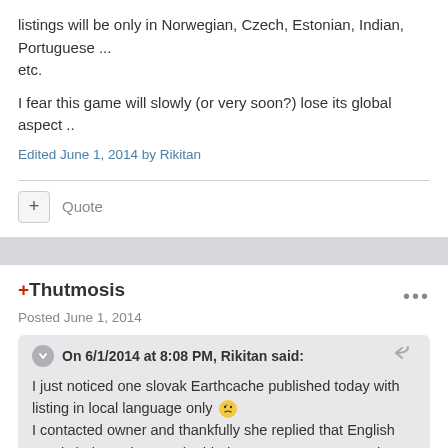listings will be only in Norwegian, Czech, Estonian, Indian, Portuguese ... etc.
I fear this game will slowly (or very soon?) lose its global aspect ..
Edited June 1, 2014 by Rikitan
Quote
+Thutmosis
Posted June 1, 2014
On 6/1/2014 at 8:08 PM, Rikitan said:
I just noticed one slovak Earthcache published today with listing in local language only 🙃
I contacted owner and thankfully she replied that English part is being written and added very soon. However, she also mentioned that English description is not mandatory any longer ... ! Bummm! I